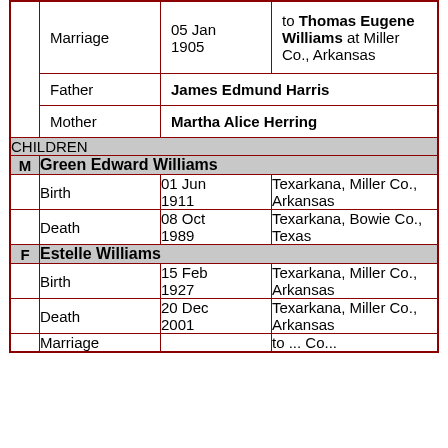| Marriage | 05 Jan 1905 | to Thomas Eugene Williams at Miller Co., Arkansas |
| Father |  | James Edmund Harris |
| Mother |  | Martha Alice Herring |
| CHILDREN |  |  |
| M | Green Edward Williams |  |
| Birth | 01 Jun 1911 | Texarkana, Miller Co., Arkansas |
| Death | 08 Oct 1989 | Texarkana, Bowie Co., Texas |
| F | Estelle Williams |  |
| Birth | 15 Feb 1927 | Texarkana, Miller Co., Arkansas |
| Death | 20 Dec 2001 | Texarkana, Miller Co., Arkansas |
| Marriage |  | to ... Co... |